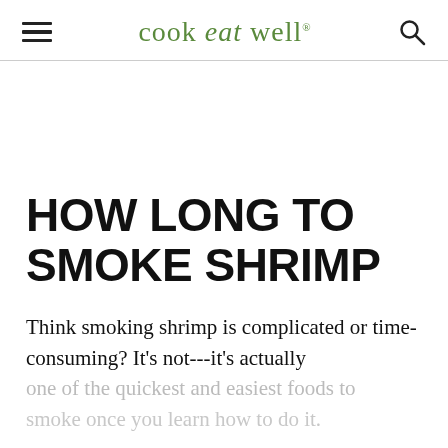cook eat well
HOW LONG TO SMOKE SHRIMP
Think smoking shrimp is complicated or time-consuming? It's not---it's actually one of the quickest and easiest foods to smoke once you learn how to do it.